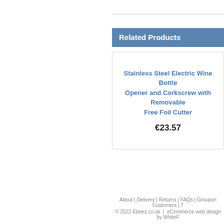Related Products
Stainless Steel Electric Wine Bottle Opener and Corkscrew with Removable Free Foil Cutter
€23.57
About | Delivery | Returns | FAQs | Groupon Customers | T
© 2022 Ebeez.co.uk  |  eCommerce web design by WhiteF